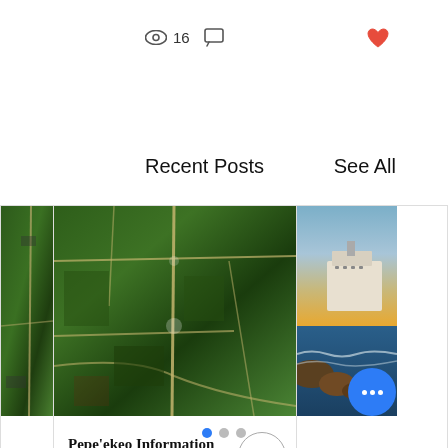[Figure (screenshot): Social media / blog interface showing view count icon (eye), 16 views, comment icon, and a red heart icon on the right]
Recent Posts
See All
[Figure (photo): Left partial card: aerial/satellite photo of fields and roads]
[Figure (photo): Center card image: aerial/satellite view of Pepe'ekeo area showing forest, roads, and land parcels]
Pepe'ekeo Information Update for June 18th,...
309
0
[Figure (photo): Right partial card: cruise ship at sea with rocky coastline in foreground]